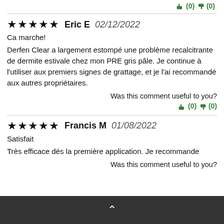👍(0) 👎(0)
★★★★★ Eric E 02/12/2022
Ca marche!
Derfen Clear a largement estompé une problème recalcitrante de dermite estivale chez mon PRE gris pâle. Je continue à l'utiliser aux premiers signes de grattage, et je l'ai recommandé aux autres propriétaires.
Was this comment useful to you?
👍(0) 👎(0)
★★★★★ Francis M 01/08/2022
Satisfait
Très efficace dés la première application. Je recommande
Was this comment useful to you?